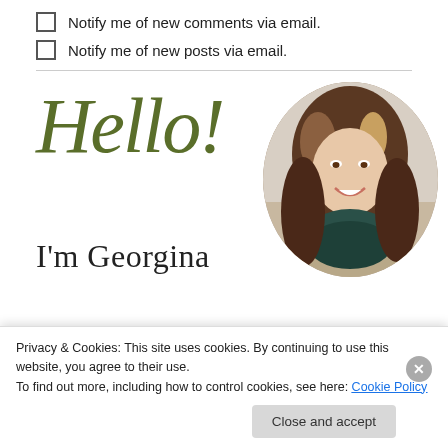Notify me of new comments via email.
Notify me of new posts via email.
[Figure (photo): Circular profile photo of a smiling young woman with brown highlighted hair wearing a grey sweater and dark green knitted scarf, posed indoors.]
Hello!
I'm Georgina
Privacy & Cookies: This site uses cookies. By continuing to use this website, you agree to their use.
To find out more, including how to control cookies, see here: Cookie Policy
Close and accept